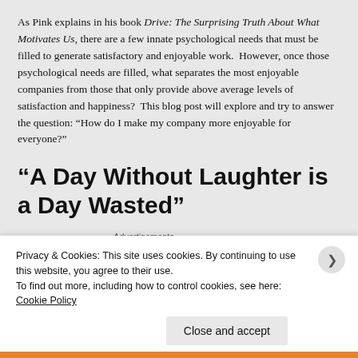As Pink explains in his book Drive: The Surprising Truth About What Motivates Us, there are a few innate psychological needs that must be filled to generate satisfactory and enjoyable work.  However, once those psychological needs are filled, what separates the most enjoyable companies from those that only provide above average levels of satisfaction and happiness?  This blog post will explore and try to answer the question: “How do I make my company more enjoyable for everyone?”
“A Day Without Laughter is a Day Wasted”
Advertisements
Privacy & Cookies: This site uses cookies. By continuing to use this website, you agree to their use.
To find out more, including how to control cookies, see here: Cookie Policy